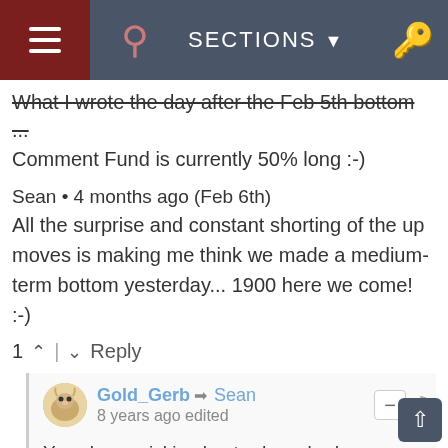SECTIONS
What I wrote the day after the Feb 5th bottom ... Comment Fund is currently 50% long :-)
Sean • 4 months ago (Feb 6th)
All the surprise and constant shorting of the up moves is making me think we made a medium-term bottom yesterday... 1900 here we come! :-)
1 ^ | v Reply
Gold_Gerb → Sean
8 years ago edited
You cherry picking bastard. anybody can go back and find a good self-made comment. LOL

here
http://evilspeculator.com/?...

but, yes - I'm interested in how your Fund works out.
(ps. that was an emotional comment)